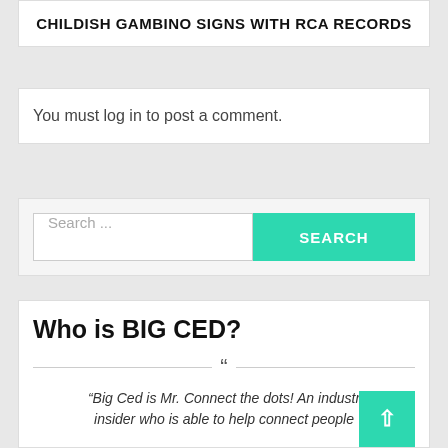CHILDISH GAMBINO SIGNS WITH RCA RECORDS
You must log in to post a comment.
Search ...
Who is BIG CED?
“Big Ced is Mr. Connect the dots! An industry insider who is able to help connect people